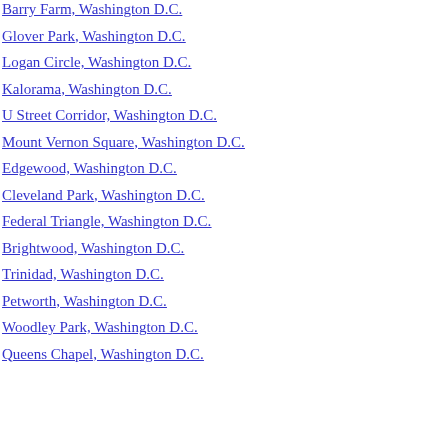Barry Farm, Washington D.C.
Glover Park, Washington D.C.
Logan Circle, Washington D.C.
Kalorama, Washington D.C.
U Street Corridor, Washington D.C.
Mount Vernon Square, Washington D.C.
Edgewood, Washington D.C.
Cleveland Park, Washington D.C.
Federal Triangle, Washington D.C.
Brightwood, Washington D.C.
Trinidad, Washington D.C.
Petworth, Washington D.C.
Woodley Park, Washington D.C.
Queens Chapel, Washington D.C.